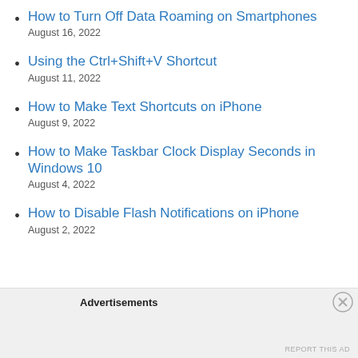How to Turn Off Data Roaming on Smartphones
August 16, 2022
Using the Ctrl+Shift+V Shortcut
August 11, 2022
How to Make Text Shortcuts on iPhone
August 9, 2022
How to Make Taskbar Clock Display Seconds in Windows 10
August 4, 2022
How to Disable Flash Notifications on iPhone
August 2, 2022
Advertisements